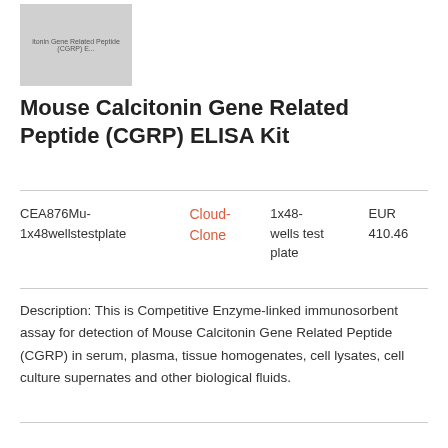[Figure (photo): Product image placeholder for Mouse Calcitonin Gene Related Peptide (CGRP) ELISA Kit, gray rectangle with small label text]
Mouse Calcitonin Gene Related Peptide (CGRP) ELISA Kit
| Catalog | Supplier | Size | Price |
| --- | --- | --- | --- |
| CEA876Mu-1x48wellstestplate | Cloud-Clone | 1x48-wells test plate | EUR 410.46 |
Description: This is Competitive Enzyme-linked immunosorbent assay for detection of Mouse Calcitonin Gene Related Peptide (CGRP) in serum, plasma, tissue homogenates, cell lysates, cell culture supernates and other biological fluids.